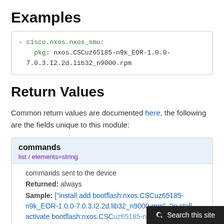Examples
- cisco.nxos.nxos_smu:
    pkg: nxos.CSCuz65185-n9k_EOR-1.0.0-7.0.3.I2.2d.lib32_n9000.rpm
Return Values
Common return values are documented here, the following are the fields unique to this module:
| commands | list / elements=string |
| --- | --- |
| commands sent to the device |  |  |
| Returned: | always |  |
| Sample: | ["install add bootflash:nxos.CSCuz65185-n9k_EOR-1.0.0-7.0.3.I2.2d.lib32_n9000.rpm", "install activate bootflash:nxos.CSCuz65185-n9k_E... |  |